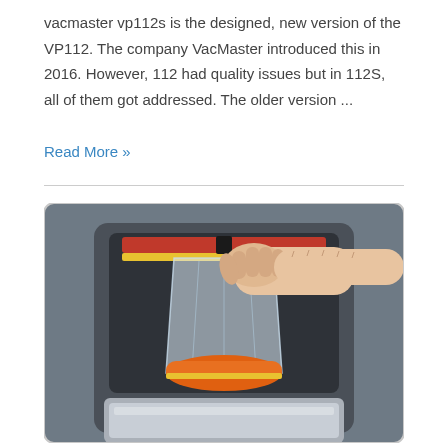vacmaster vp112s is the designed, new version of the VP112. The company VacMaster introduced this in 2016. However, 112 had quality issues but in 112S, all of them got addressed. The older version ...
Read More »
[Figure (photo): A person's hand placing a clear vacuum-sealed bag containing orange-colored food into a VacMaster vacuum sealing machine. The machine is stainless steel and the bag hangs inside the chamber.]